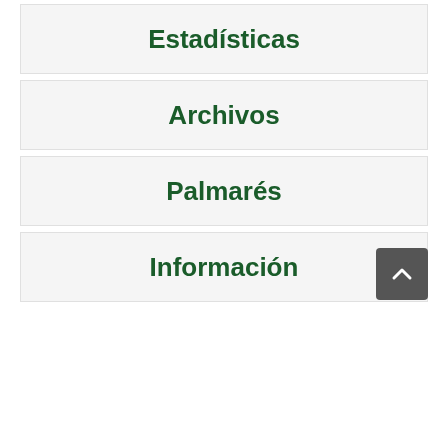Estadísticas
Archivos
Palmarés
Información
[Figure (other): Scroll-to-top button with upward chevron arrow, dark grey background]